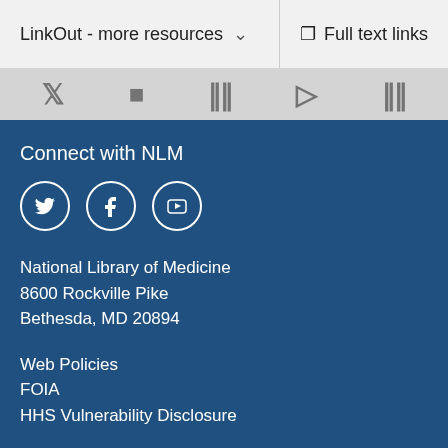LinkOut - more resources   Full text links
Connect with NLM
[Figure (illustration): Three social media icon circles: Twitter bird icon, Facebook F icon, YouTube play button icon, on a dark blue background]
National Library of Medicine
8600 Rockville Pike
Bethesda, MD 20894
Web Policies
FOIA
HHS Vulnerability Disclosure
Help
Accessibility
Careers